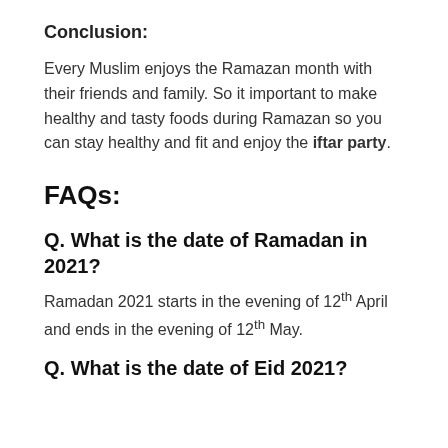Conclusion:
Every Muslim enjoys the Ramazan month with their friends and family. So it important to make healthy and tasty foods during Ramazan so you can stay healthy and fit and enjoy the iftar party.
FAQs:
Q. What is the date of Ramadan in 2021?
Ramadan 2021 starts in the evening of 12th April and ends in the evening of 12th May.
Q. What is the date of Eid 2021?